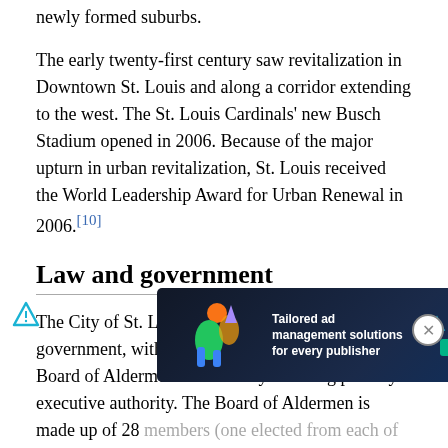newly formed suburbs.
The early twenty-first century saw revitalization in Downtown St. Louis and along a corridor extending to the west. The St. Louis Cardinals' new Busch Stadium opened in 2006. Because of the major upturn in urban revitalization, St. Louis received the World Leadership Award for Urban Renewal in 2006.[10]
Law and government
The City of St. Louis has a mayor-council type of government, with legislative authority vested in a Board of Aldermen and the mayor having primary executive authority. The Board of Aldermen is made up of 28 members (one elected from each of the city's wards) plus a board president. The city also has many other departments, and the executive authority with 9 other independent citywide elected officials, including a treasurer, comptroller, a collector of
[Figure (other): Advertisement banner for Freesta tailored ad management solutions for every publisher with Learn More button, overlaid on the text content.]